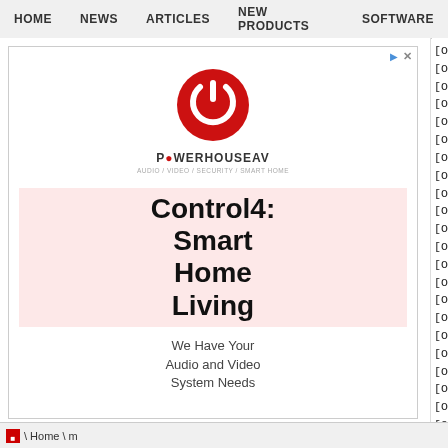HOME   NEWS   ARTICLES   NEW PRODUCTS   SOFTWARE
[Figure (advertisement): PowerhouseAV advertisement featuring red power button logo, brand name POWERHOUSEAV, and text: Control4: Smart Home Living. We Have Your Audio and Video System Needs]
[OID] enterprises.664.2.176.11.1.1
[OID] enterprises.664.2.176.11.1.1
[OID] enterprises.664.2.176.11.1.1
[OID] enterprises.664.2.176.11.1.1
[OID] enterprises.664.2.176.11.1.1
[OID] enterprises.664.2.176.11.1.1
[OID] enterprises.664.2.176.11.1.1
[OID] enterprises.664.2.176.11.1.1
[OID] enterprises.664.2.176.11.1.1
[OID] enterprises.664.2.176.11.1.1
[OID] enterprises.664.2.176.11.1.1
[OID] enterprises.664.2.176.11.1.1
[OID] enterprises.664.2.176.11.1.1
[OID] enterprises.664.2.176.11.1.1
[OID] enterprises.664.2.176.11.1.1
[OID] enterprises.664.2.176.11.1.1
[OID] enterprises.664.2.176.11.1.1
[OID] enterprises.664.2.176.12
[OID] enterprises.664.2.176.12.1
[OID] enterprises.664.2.176.12.1.1
[OID] enterprises.664.2.176.12.1.1
[OID] enterprises.664.2.176.12.1.1
[OID] enterprises.664.2.176.12.1.1
[OID] enterprises.664.2.176.12.1.1
\Home\m